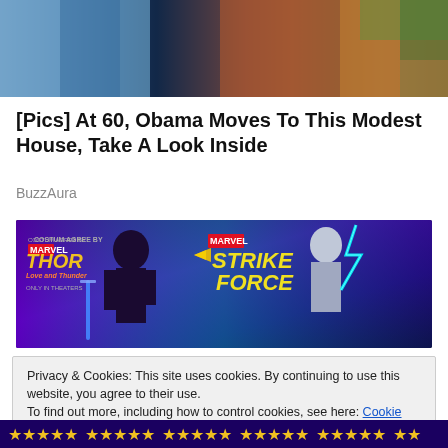[Figure (photo): Partial photo of two people outdoors, cropped at top of page]
[Pics] At 60, Obama Moves To This Modest House, Take A Look Inside
BuzzAura
[Figure (illustration): Marvel Strike Force advertisement banner featuring Thor: Love and Thunder characters]
Privacy & Cookies: This site uses cookies. By continuing to use this website, you agree to their use.
To find out more, including how to control cookies, see here: Cookie Policy
Close and accept